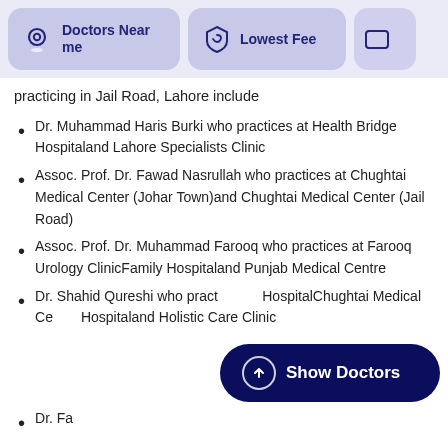[Figure (screenshot): Top navigation bar with 'Doctors Near me' button (location icon), 'Lowest Fee' button (shield icon), and a partially visible third button]
practicing in Jail Road, Lahore include
Dr. Muhammad Haris Burki who practices at Health Bridge Hospitaland Lahore Specialists Clinic
Assoc. Prof. Dr. Fawad Nasrullah who practices at Chughtai Medical Center (Johar Town)and Chughtai Medical Center (Jail Road)
Assoc. Prof. Dr. Muhammad Farooq who practices at Farooq Urology ClinicFamily Hospitaland Punjab Medical Centre
Dr. Shahid Qureshi who practices at HospitalChughtai Medical Center Hospitaland Holistic Care Clinic
[Figure (screenshot): Show Doctors button (dark navy blue rounded pill with up-arrow icon)]